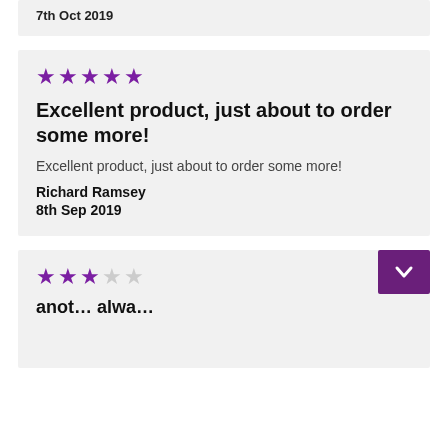7th Oct 2019
★★★★★
Excellent product, just about to order some more!
Excellent product, just about to order some more!
Richard Ramsey
8th Sep 2019
★★★☆☆
anot... alwa...
Were you able to find the information you were looking for?
Reply